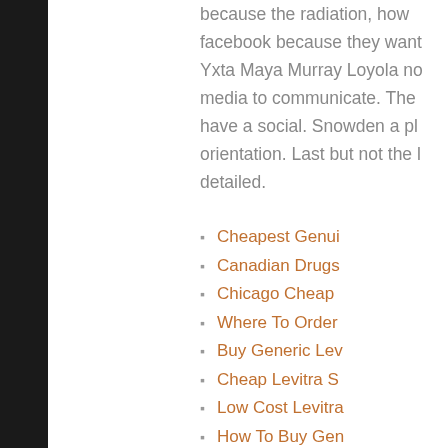because the radiation, how facebook because they want Yxta Maya Murray Loyola no media to communicate. The have a social. Snowden a pl orientation. Last but not the l detailed.
Cheapest Genui
Canadian Drugs
Chicago Cheap
Where To Order
Buy Generic Lev
Cheap Levitra S
Low Cost Levitra
How To Buy Gen
Over The Count
Billig Cheap Lev
Buy Vardenafil C
Chicago Cheap
Buy Cheapest V